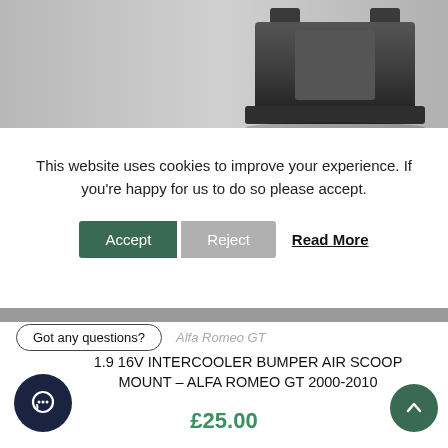[Figure (photo): Photo of a metal intercooler bumper air scoop mount bracket, dark gray metal part against a light gray/white wall background]
This website uses cookies to improve your experience. If you're happy for us to do so please accept.
Accept | Reject | Read More
Got any questions?
Alfa Romeo GT
1.9 16V INTERCOOLER BUMPER AIR SCOOP MOUNT – ALFA ROMEO GT 2000-2010
£25.00